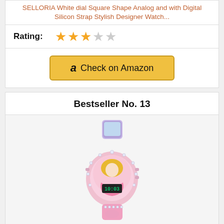SELLORIA White dial Square Shape Analog and with Digital Silicon Strap Stylish Designer Watch...
Rating:
[Figure (infographic): 2.5 out of 5 star rating shown with golden stars]
[Figure (infographic): Check on Amazon button with Amazon logo]
Bestseller No. 13
[Figure (photo): Pink Disney Princess kids digital watch with glowing LED, featuring Aurora/Sleeping Beauty design on face and strap]
DEVIL Kids Analog Led Glowing Light Digital Wrist Barbie Watches for Kids Girls Pack of 1